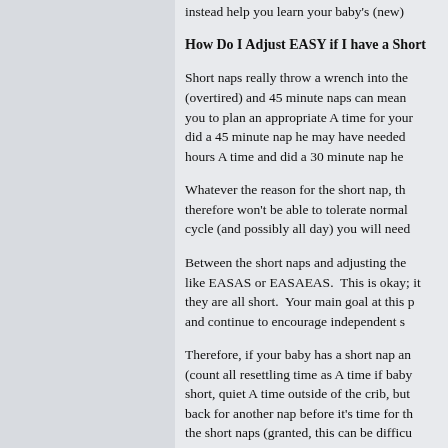instead help you learn your baby's (new)
How Do I Adjust EASY if I have a Short
Short naps really throw a wrench into the (overtired) and 45 minute naps can mean you to plan an appropriate A time for your did a 45 minute nap he may have needed hours A time and did a 30 minute nap he
Whatever the reason for the short nap, th therefore won't be able to tolerate normal cycle (and possibly all day) you will need
Between the short naps and adjusting the like EASAS or EASAEAS.  This is okay; it they are all short.  Your main goal at this p and continue to encourage independent s
Therefore, if your baby has a short nap an (count all resettling time as A time if baby short, quiet A time outside of the crib, but back for another nap before it's time for th the short naps (granted, this can be difficu later depending on when the nap falls.  W for them to get back on track with sleep to